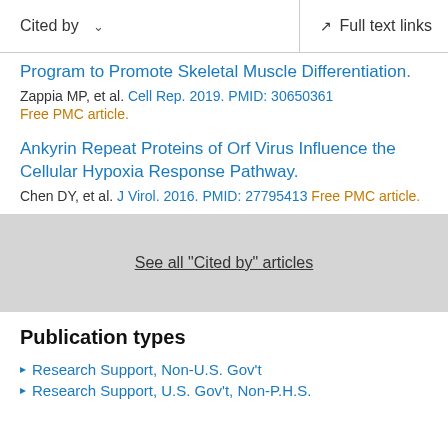Cited by   Full text links
Program to Promote Skeletal Muscle Differentiation.
Zappia MP, et al. Cell Rep. 2019. PMID: 30650361
Free PMC article.
Ankyrin Repeat Proteins of Orf Virus Influence the Cellular Hypoxia Response Pathway.
Chen DY, et al. J Virol. 2016. PMID: 27795413 Free PMC article.
See all "Cited by" articles
Publication types
Research Support, Non-U.S. Gov't
Research Support, U.S. Gov't, Non-P.H.S.